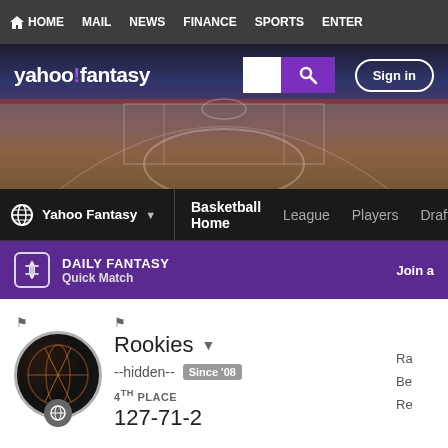HOME  MAIL  NEWS  FINANCE  SPORTS  ENTER
[Figure (screenshot): Yahoo Fantasy logo with search box and Sign in button on a basketball court background banner]
Yahoo Fantasy ▾  Basketball Home  League  Players  Draft
DAILY FANTASY Quick Match  Join a
Rookies ▾
--hidden--  Since '08
4TH PLACE
127-71-2